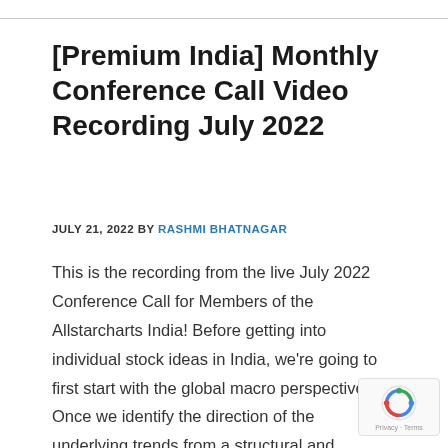[Premium India] Monthly Conference Call Video Recording July 2022
JULY 21, 2022 BY RASHMI BHATNAGAR
This is the recording from the live July 2022 Conference Call for Members of the Allstarcharts India! Before getting into individual stock ideas in India, we're going to first start with the global macro perspective. Once we identify the direction of the underlying trends from a structural and